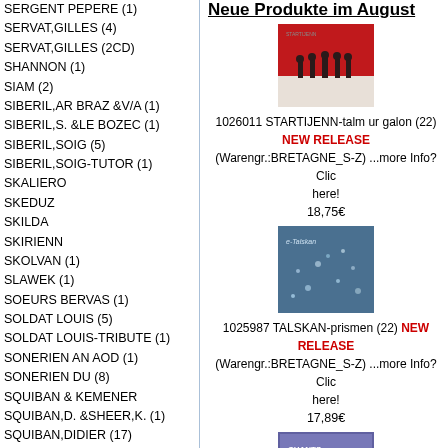SERGENT PEPERE (1)
SERVAT,GILLES (4)
SERVAT,GILLES (2CD)
SHANNON (1)
SIAM (2)
SIBERIL,AR BRAZ &V/A (1)
SIBERIL,S. &LE BOZEC (1)
SIBERIL,SOIG (5)
SIBERIL,SOIG-TUTOR (1)
SKALIERO
SKEDUZ
SKILDA
SKIRIENN
SKOLVAN (1)
SLAWEK (1)
SOEURS BERVAS (1)
SOLDAT LOUIS (5)
SOLDAT LOUIS-TRIBUTE (1)
SONERIEN AN AOD (1)
SONERIEN DU (8)
SQUIBAN & KEMENER
SQUIBAN,D. &SHEER,K. (1)
SQUIBAN,DIDIER (17)
SQUIBAN,DIDIER TRIO (1)
STARTIJENN (5)
STELENKO (1)
STETRICE (1)
STIVELL,ALAN (4)
Neue Produkte im August
[Figure (photo): Album cover for STARTIJENN - talm ur galon: red background with silhouettes of people walking]
1026011 STARTIJENN-talm ur galon (22) NEW RELEASE
(Warengr.:BRETAGNE_S-Z) ...more Info? Click here!
18,75€
[Figure (photo): Album cover for TALSKAN - prismen: blue/grey abstract speckled design]
1025987 TALSKAN-prismen (22) NEW RELEASE
(Warengr.:BRETAGNE_S-Z) ...more Info? Click here!
17,89€
[Figure (photo): Album cover for CHANTS de MARINS: text on blue/purple background]